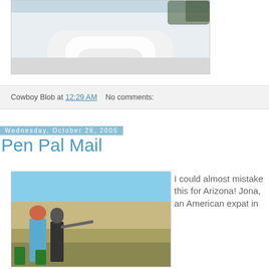[Figure (photo): Snow sculpture photo, partially visible at top of page]
Cowboy Blob at 12:29 AM    No comments:
Wednesday, October 26, 2005
Pen Pal Mail
[Figure (photo): Two people at an outdoor shooting range in a desert landscape]
I could almost mistake this for Arizona! Jona, an American expat in